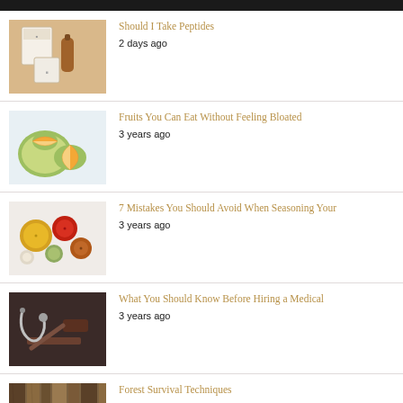Should I Take Peptides | 2 days ago
Fruits You Can Eat Without Feeling Bloated | 3 years ago
7 Mistakes You Should Avoid When Seasoning Your | 3 years ago
What You Should Know Before Hiring a Medical | 3 years ago
Forest Survival Techniques